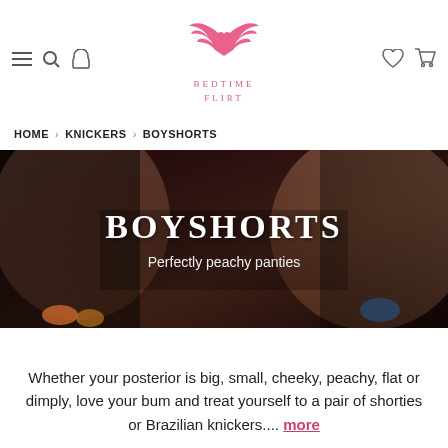Bedtime Flirt — Navigation header with logo, menu, search, account, wishlist, and cart icons
HOME › KNICKERS › BOYSHORTS
[Figure (photo): Hero banner image showing lingerie models wearing black lace boyshorts/underwear on a dark background, with overlay text 'BOYSHORTS' and subtitle 'Perfectly peachy panties']
Whether your posterior is big, small, cheeky, peachy, flat or dimply, love your bum and treat yourself to a pair of shorties or Brazilian knickers.... more